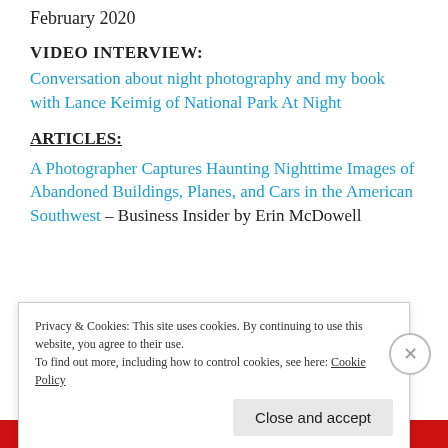February 2020
VIDEO INTERVIEW:
Conversation about night photography and my book with Lance Keimig of National Park At Night
ARTICLES:
A Photographer Captures Haunting Nighttime Images of Abandoned Buildings, Planes, and Cars in the American Southwest – Business Insider by Erin McDowell
Privacy & Cookies: This site uses cookies. By continuing to use this website, you agree to their use.
To find out more, including how to control cookies, see here: Cookie Policy